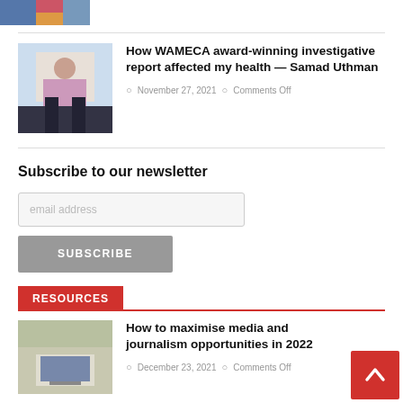[Figure (photo): Partial image strip at top left showing a colorful photo thumbnail]
How WAMECA award-winning investigative report affected my health — Samad Uthman
November 27, 2021   Comments Off
Subscribe to our newsletter
email address
SUBSCRIBE
RESOURCES
[Figure (photo): Woman sitting at a desk working on a laptop, seen from behind]
How to maximise media and journalism opportunities in 2022
December 23, 2021   Comments Off